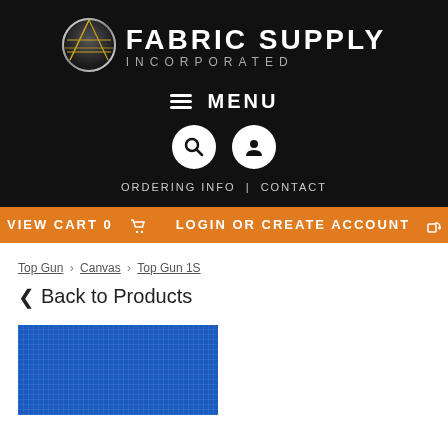[Figure (logo): Fabric Supply Incorporated logo with globe icon and text]
MENU
ORDERING INFO | CONTACT
VIEW CART 0 LOGIN OR CREATE ACCOUNT
Top Gun › Canvas › Top Gun 1S
‹ Back to Products
[Figure (photo): Blue canvas fabric texture photo]